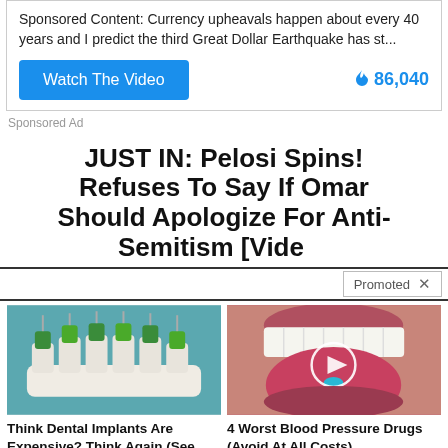Sponsored Content: Currency upheavals happen about every 40 years and I predict the third Great Dollar Earthquake has st...
Watch The Video   🔥 86,040
Sponsored Ad
JUST IN: Pelosi Spins! Refuses To Say If Omar Should Apologize For Anti-Semitism [Vide...
Promoted ×
[Figure (photo): Dental implant model with green and white teeth on a white base]
Think Dental Implants Are Expensive? Think Again (See Prices)
🔥 46,162
[Figure (photo): Close-up of open mouth with tongue and pill, with play button overlay]
4 Worst Blood Pressure Drugs (Avoid At All Costs)
🔥 62,300